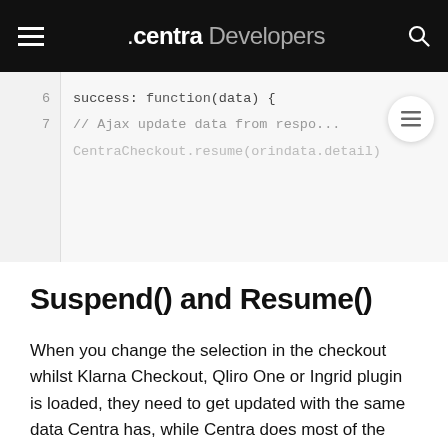.centra Developers
[Figure (screenshot): Code block showing lines 6 and 7 of JavaScript: success: function(data) { // Ajax update data from response... CentraCheckout.resume(orindata.detail)]
Suspend() and Resume()
When you change the selection in the checkout whilst Klarna Checkout, Qliro One or Ingrid plugin is loaded, they need to get updated with the same data Centra has, while Centra does most of the heavy lifting here, like sending data to the Klarna, Qliro One and Ingrid. Your website, however, needs to suspend and resume the widgets. The CentraCheckout object has functions for suspending and resuming Klarna Checkout, Qliro One and Ingrid, depending on which are loaded from Centra